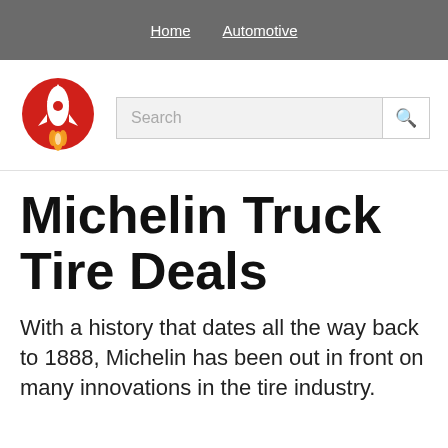Home  Automotive
[Figure (logo): Red circular logo with white rocket icon and orange flame, site logo]
Search
Michelin Truck Tire Deals
With a history that dates all the way back to 1888, Michelin has been out in front on many innovations in the tire industry.